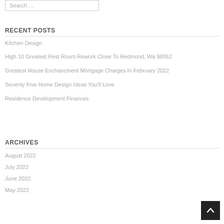Search …
RECENT POSTS
Kitchen Design
High 10 Greatest Rest Room Rework Close To Redmond, Wa 98052
Greatest House Enchancment Mortgage Charges In February 2022
Seventy Five Home Design Ideas You'll Love
Residence Development Finances
ARCHIVES
August 2022
July 2022
June 2022
May 2022